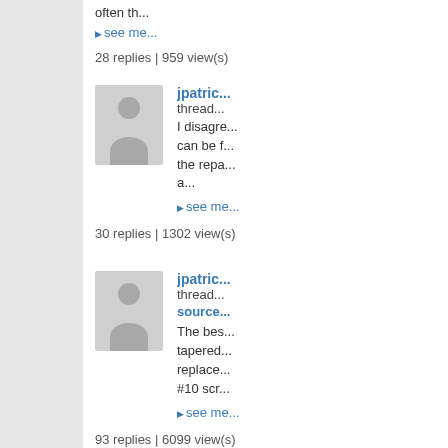often th...
▸ see me...
28 replies | 959 view(s)
[Figure (illustration): User avatar placeholder - gray silhouette]
jpatric... thread... I disagre... can be f... the repa... a...
▸ see me...
30 replies | 1302 view(s)
[Figure (illustration): User avatar placeholder - gray silhouette]
jpatric... thread... source... The bes... tapered... replace... #10 scre...
▸ see me...
93 replies | 6099 view(s)